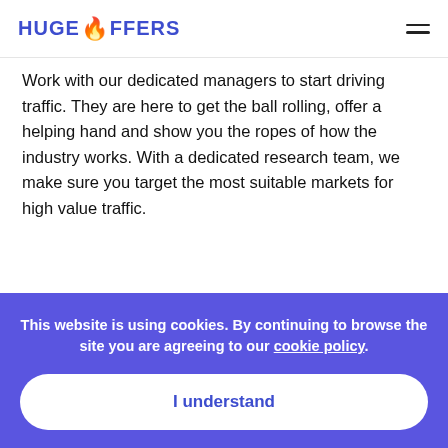HUGE OFFERS
Work with our dedicated managers to start driving traffic. They are here to get the ball rolling, offer a helping hand and show you the ropes of how the industry works. With a dedicated research team, we make sure you target the most suitable markets for high value traffic.
This website is using cookies. By continuing to browse the site you are agreeing to our cookie policy.
I understand